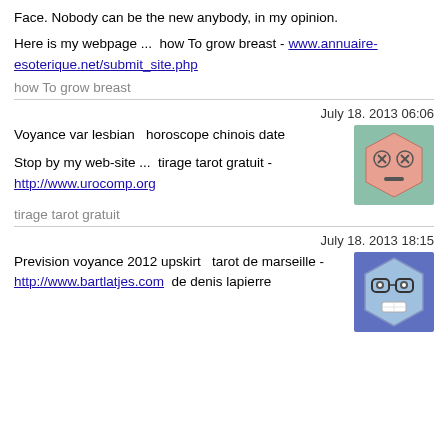Face. Nobody can be the new anybody, in my opinion.
Here is my webpage ...  how To grow breast - www.annuaire-esoterique.net/submit_site.php
how To grow breast
July 18. 2013 06:06
Voyance var lesbian  horoscope chinois date
Stop by my web-site ...  tirage tarot gratuit - http://www.urocomp.org
[Figure (illustration): Cartoon hexagon face emoji with X eyes and flat expression on green background]
tirage tarot gratuit
July 18. 2013 18:15
Prevision voyance 2012 upskirt   tarot de marseille - http://www.bartlatjes.com  de denis lapierre
[Figure (illustration): Cartoon hexagon face with glasses and bandage on purple-blue background]